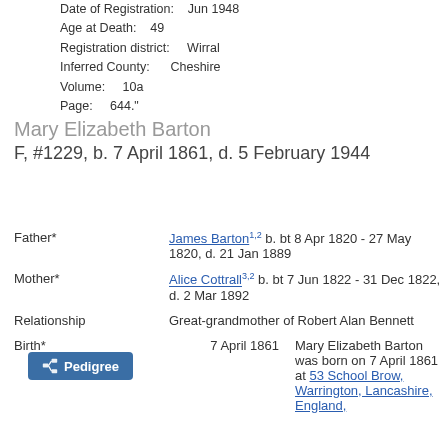Date of Registration: Jun 1948
Age at Death: 49
Registration district: Wirral
Inferred County: Cheshire
Volume: 10a
Page: 644."
Mary Elizabeth Barton
F, #1229, b. 7 April 1861, d. 5 February 1944
Pedigree
Father*	James Barton b. bt 8 Apr 1820 - 27 May 1820, d. 21 Jan 1889
Mother*	Alice Cottrall b. bt 7 Jun 1822 - 31 Dec 1822, d. 2 Mar 1892
Relationship	Great-grandmother of Robert Alan Bennett
Birth*	7 April 1861	Mary Elizabeth Barton was born on 7 April 1861 at 53 School Brow, Warrington, Lancashire, England,